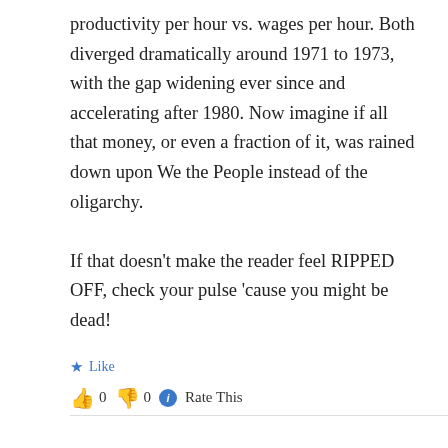productivity per hour vs. wages per hour. Both diverged dramatically around 1971 to 1973, with the gap widening ever since and accelerating after 1980. Now imagine if all that money, or even a fraction of it, was rained down upon We the People instead of the oligarchy.

If that doesn't make the reader feel RIPPED OFF, check your pulse 'cause you might be dead!
★ Like
👍 0 👎 0 ℹ Rate This
↳ Reply